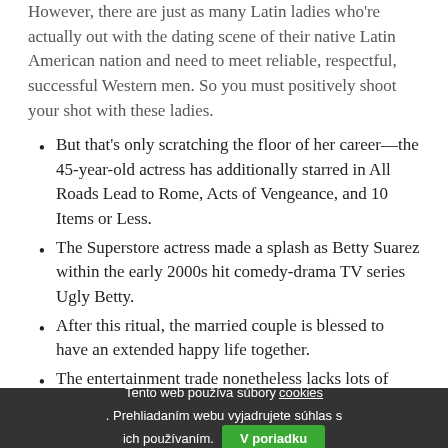However, there are just as many Latin ladies who're actually out with the dating scene of their native Latin American nation and need to meet reliable, respectful, successful Western men. So you must positively shoot your shot with these ladies.
But that's only scratching the floor of her career—the 45-year-old actress has additionally starred in All Roads Lead to Rome, Acts of Vengeance, and 10 Items or Less.
The Superstore actress made a splash as Betty Suarez within the early 2000s hit comedy-drama TV series Ugly Betty.
After this ritual, the married couple is blessed to have an extended happy life together.
The entertainment trade nonetheless lacks lots of genuine illustration, but these ladies are paving the method in which.
First, there is Adriana with one n, like Brazilian supermodel, Maybelline cosmetics spokesperson, and former Victoria's Secrets model Adriana Lima.
Tento web používa súbory cookies. Prehliadaním webu vyjadrujete súhlas s ich používaním. V poriadku